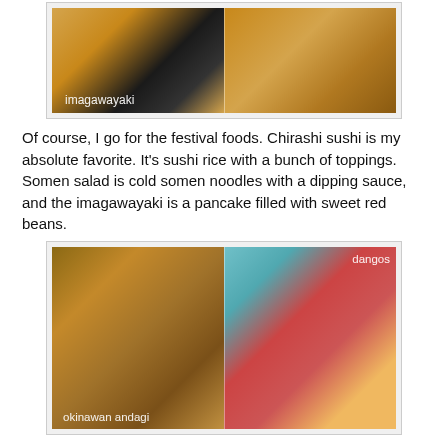[Figure (photo): Two side-by-side photos of imagawayaki (Japanese pancake filled with sweet red beans). Left photo shows a split-open imagawayaki revealing dark filling. Right photo shows a whole round imagawayaki. Label 'imagawayaki' in white text.]
Of course, I go for the festival foods. Chirashi sushi is my absolute favorite. It's sushi rice with a bunch of toppings. Somen salad is cold somen noodles with a dipping sauce, and the imagawayaki is a pancake filled with sweet red beans.
[Figure (photo): Two side-by-side photos. Left photo shows okinawan andagi (round fried donuts) on a plate. Right photo shows a woman vendor selling dangos at a festival booth. Labels 'okinawan andagi' and 'dangos' in white text.]
My peep's donut! The Okinawan Andagi or Dango is a festival favorite...just look for the long line. It is a big donut hole of goodness. I like to spend my summer visiting as many festivals as possible...all to get dangos! The Japanese American founded Buddhist Churches in the...